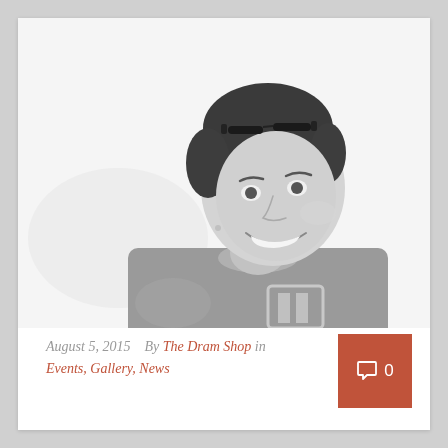[Figure (photo): Black and white portrait photo of a smiling young woman with sunglasses on her head, wearing a grey t-shirt, looking upward and to the side with a big smile.]
August 5, 2015   By The Dram Shop in Events, Gallery, News
0